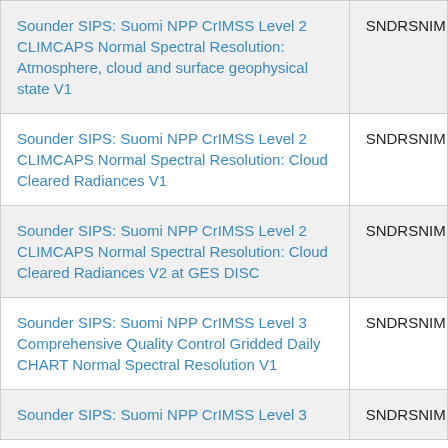| (title) | (short code) |
| --- | --- |
| Sounder SIPS: Suomi NPP CrIMSS Level 2 CLIMCAPS Normal Spectral Resolution: Atmosphere, cloud and surface geophysical state V1 | SNDRSNIM... |
| Sounder SIPS: Suomi NPP CrIMSS Level 2 CLIMCAPS Normal Spectral Resolution: Cloud Cleared Radiances V1 | SNDRSNIM... |
| Sounder SIPS: Suomi NPP CrIMSS Level 2 CLIMCAPS Normal Spectral Resolution: Cloud Cleared Radiances V2 at GES DISC | SNDRSNIM... |
| Sounder SIPS: Suomi NPP CrIMSS Level 3 Comprehensive Quality Control Gridded Daily CHART Normal Spectral Resolution V1 | SNDRSNIM... |
| Sounder SIPS: Suomi NPP CrIMSS Level 3 | SNDRSNIM... |